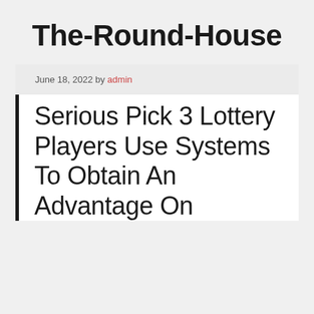The-Round-House
June 18, 2022 by admin
Serious Pick 3 Lottery Players Use Systems To Obtain An Advantage On